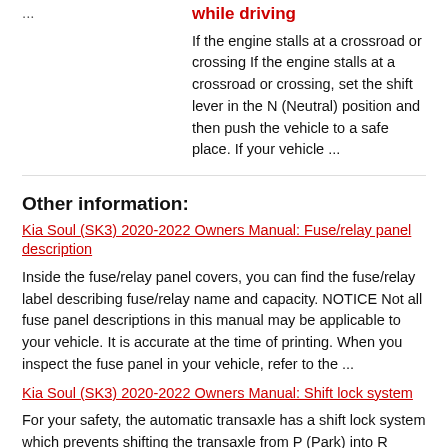...
while driving
If the engine stalls at a crossroad or crossing If the engine stalls at a crossroad or crossing, set the shift lever in the N (Neutral) position and then push the vehicle to a safe place. If your vehicle ...
Other information:
Kia Soul (SK3) 2020-2022 Owners Manual: Fuse/relay panel description
Inside the fuse/relay panel covers, you can find the fuse/relay label describing fuse/relay name and capacity. NOTICE Not all fuse panel descriptions in this manual may be applicable to your vehicle. It is accurate at the time of printing. When you inspect the fuse panel in your vehicle, refer to the ...
Kia Soul (SK3) 2020-2022 Owners Manual: Shift lock system
For your safety, the automatic transaxle has a shift lock system which prevents shifting the transaxle from P (Park) into R (Reverse) unless the brake pedal is depressed. To shift the transaxle from P (Park) into R (Reverse): 1. Depress and hold the brake pedal. 2. Start the engine or